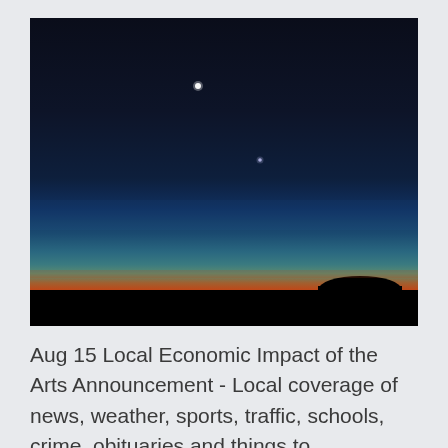[Figure (photo): Night sky photograph showing a twilight/pre-dawn landscape. The sky transitions from deep dark blue-black at the top with two faint stars/planets visible, through blue and teal tones toward the horizon, then a vivid orange-red band just above the flat silhouetted horizon line. A dark silhouette of a rock formation (resembling Uluru) is visible on the right side of the horizon. The foreground is completely black.]
Aug 15 Local Economic Impact of the Arts Announcement - Local coverage of news, weather, sports, traffic, schools, crime, obituaries and things to